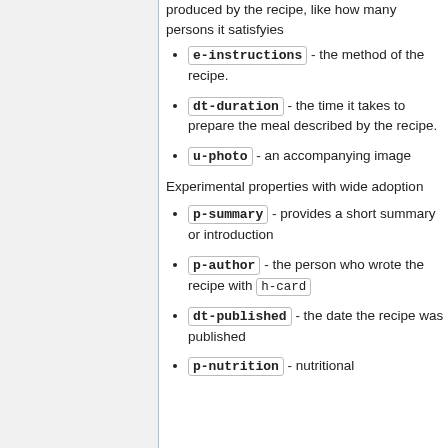produced by the recipe, like how many persons it satisfyies
e-instructions - the method of the recipe.
dt-duration - the time it takes to prepare the meal described by the recipe.
u-photo - an accompanying image
Experimental properties with wide adoption
p-summary - provides a short summary or introduction
p-author - the person who wrote the recipe with h-card
dt-published - the date the recipe was published
p-nutrition - nutritional information like calories of ingredients